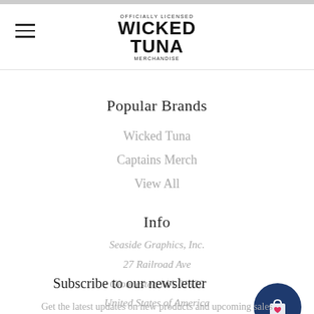OFFICIALLY LICENSED WICKED TUNA MERCHANDISE
Popular Brands
Wicked Tuna
Captains Merch
View All
Info
Seaside Graphics, Inc.
27 Railroad Ave
Gloucester, MA 01930
United States of America
Call us at 978-281-0960
Subscribe to our newsletter
Get the latest updates on new products and upcoming sales